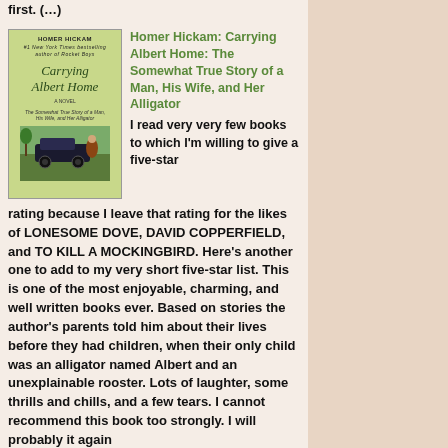first. (…)
[Figure (illustration): Book cover of 'Carrying Albert Home' by Homer Hickam, featuring green/yellow background with title in italic serif font and a scene at the bottom.]
Homer Hickam: Carrying Albert Home: The Somewhat True Story of a Man, His Wife, and Her Alligator
I read very very few books to which I'm willing to give a five-star rating because I leave that rating for the likes of LONESOME DOVE, DAVID COPPERFIELD, and TO KILL A MOCKINGBIRD. Here's another one to add to my very short five-star list. This is one of the most enjoyable, charming, and well written books ever. Based on stories the author's parents told him about their lives before they had children, when their only child was an alligator named Albert and an unexplainable rooster. Lots of laughter, some thrills and chills, and a few tears. I cannot recommend this book too strongly. I will probably it again